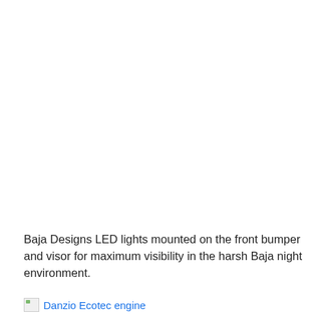Baja Designs LED lights mounted on the front bumper and visor for maximum visibility in the harsh Baja night environment.
[Figure (photo): Broken image placeholder with link text: Danzio Ecotec engine]